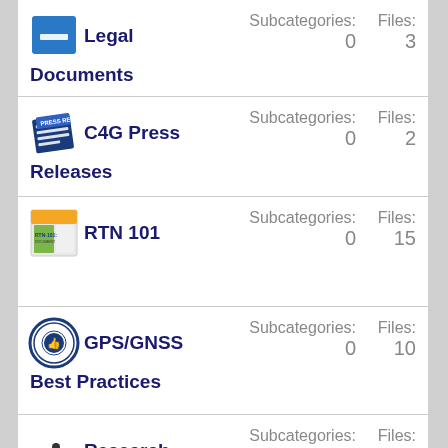Legal Documents — Subcategories: 0, Files: 3
C4G Press Releases — Subcategories: 0, Files: 2
RTN 101 — Subcategories: 0, Files: 15
GPS/GNSS Best Practices — Subcategories: 0, Files: 10
Research — Subcategories: 0, Files: ?